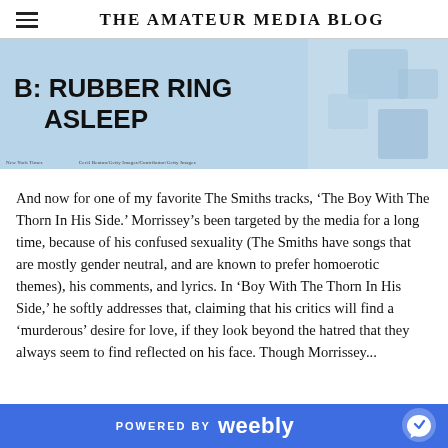The Amateur Media Blog
[Figure (photo): Header image with light blue background showing bold black text 'B: RUBBER RING ASLEEP' with decorative shapes on the right side]
And now for one of my favorite The Smiths tracks, 'The Boy With The Thorn In His Side.' Morrissey's been targeted by the media for a long time, because of his confused sexuality (The Smiths have songs that are mostly gender neutral, and are known to prefer homoerotic themes), his comments, and lyrics. In 'Boy With The Thorn In His Side,' he softly addresses that, claiming that his critics will find a 'murderous' desire for love, if they look beyond the hatred that they always seem to find reflected on his face. Though Morrissey...
POWERED BY weebly